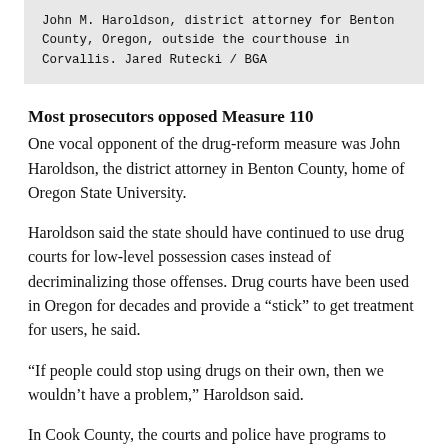John M. Haroldson, district attorney for Benton County, Oregon, outside the courthouse in Corvallis. Jared Rutecki / BGA
Most prosecutors opposed Measure 110
One vocal opponent of the drug-reform measure was John Haroldson, the district attorney in Benton County, home of Oregon State University.
Haroldson said the state should have continued to use drug courts for low-level possession cases instead of decriminalizing those offenses. Drug courts have been used in Oregon for decades and provide a “stick” to get treatment for users, he said.
“If people could stop using drugs on their own, then we wouldn’t have a problem,” Haroldson said.
In Cook County, the courts and police have programs to divert some drug offenders away from prison, but they do little to stop the churn of dead-end drug arrests. Cook